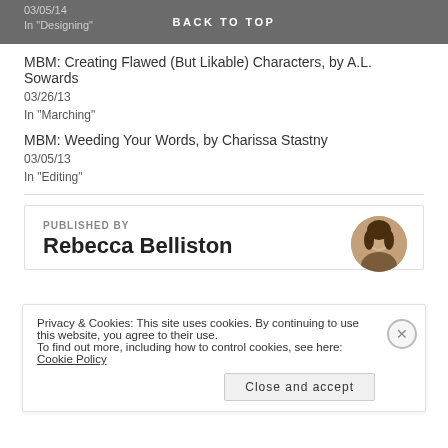03/05/14
In "Designing"
BACK TO TOP
MBM: Creating Flawed (But Likable) Characters, by A.L. Sowards
03/26/13
In "Marching"
MBM: Weeding Your Words, by Charissa Stastny
03/05/13
In "Editing"
PUBLISHED BY
Rebecca Belliston
Privacy & Cookies: This site uses cookies. By continuing to use this website, you agree to their use.
To find out more, including how to control cookies, see here: Cookie Policy
Close and accept